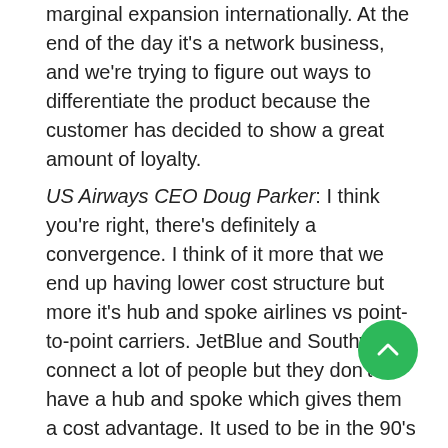marginal expansion internationally. At the end of the day it's a network business, and we're trying to figure out ways to differentiate the product because the customer has decided to show a great amount of loyalty.
US Airways CEO Doug Parker: I think you're right, there's definitely a convergence. I think of it more that we end up having lower cost structure but more it's hub and spoke airlines vs point-to-point carriers. JetBlue and Southwest connect a lot of people but they don't have a hub and spoke which gives them a cost advantage. It used to be in the 90's and 2000s that used to be largely generated by labor costs. You could have a model that worked; ran a hub and spoke out of Phoenix but had much lower costs than the other hub and spoke carriers because we had much lower labor costs. That you can't